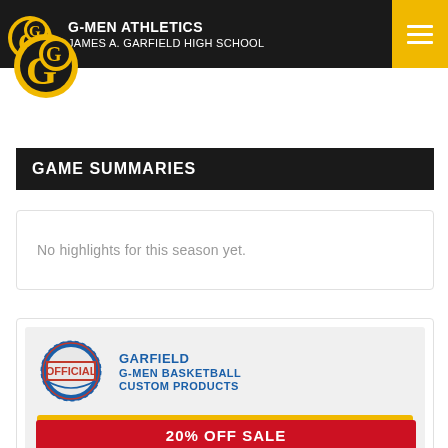G-MEN ATHLETICS / JAMES A. GARFIELD HIGH SCHOOL
GAME SUMMARIES
No highlights for this season yet.
GARFIELD G-MEN BASKETBALL CUSTOM PRODUCTS
VISIT STORE
20% OFF SALE